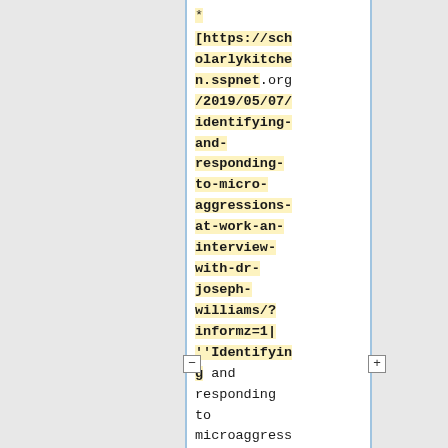* [https://scholarlykitchen.sspnet.org/2019/05/07/identifying-and-responding-to-micro-aggressions-at-work-an-interview-with-dr-joseph-williams/?informz=1| ''Identifying and responding to microaggress